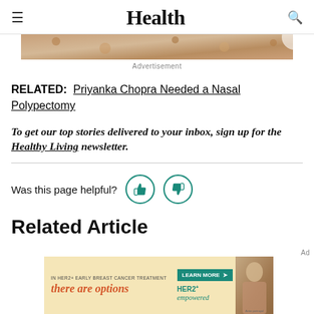Health
[Figure (photo): Partial cropped image of food item at top of page, advertisement image strip]
Advertisement
RELATED: Priyanka Chopra Needed a Nasal Polypectomy
To get our top stories delivered to your inbox, sign up for the Healthy Living newsletter.
Was this page helpful?
Related Articles
[Figure (other): Bottom advertisement banner: IN HER2+ EARLY BREAST CANCER TREATMENT there are options | LEARN MORE > HER2+ empowered | Actor portrayal]